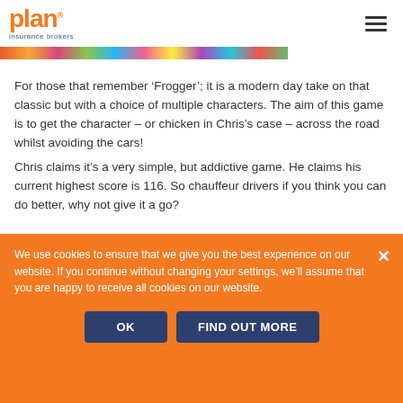plan insurance brokers
[Figure (photo): Colorful image strip showing people/characters across the top of the page content area]
For those that remember ‘Frogger’; it is a modern day take on that classic but with a choice of multiple characters. The aim of this game is to get the character – or chicken in Chris’s case – across the road whilst avoiding the cars!
Chris claims it’s a very simple, but addictive game. He claims his current highest score is 116. So chauffeur drivers if you think you can do better, why not give it a go?
Anna Faratro – Chauffeur Sales Specialist
Anna’s favourite app on her phone is Whatsapp.
We use cookies to ensure that we give you the best experience on our website. If you continue without changing your settings, we’ll assume that you are happy to receive all cookies on our website.